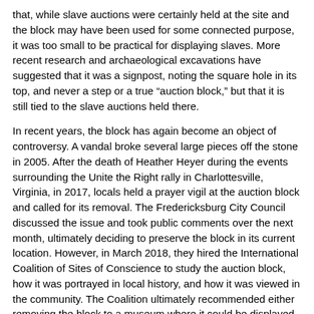that, while slave auctions were certainly held at the site and the block may have been used for some connected purpose, it was too small to be practical for displaying slaves. More recent research and archaeological excavations have suggested that it was a signpost, noting the square hole in its top, and never a step or a true "auction block," but that it is still tied to the slave auctions held there.
In recent years, the block has again become an object of controversy. A vandal broke several large pieces off the stone in 2005. After the death of Heather Heyer during the events surrounding the Unite the Right rally in Charlottesville, Virginia, in 2017, locals held a prayer vigil at the auction block and called for its removal. The Fredericksburg City Council discussed the issue and took public comments over the next month, ultimately deciding to preserve the block in its current location. However, in March 2018, they hired the International Coalition of Sites of Conscience to study the auction block, how it was portrayed in local history, and how it was viewed in the community. The Coalition ultimately recommended either removing the block to a museum where it could be displayed with more context or preserving it in place with signage that told its whole story. The community and City Council debated these proposals—arguments varied from viewing the block as a racist shrine and symbol of brutal oppression in need of immediate removal; an important but painful